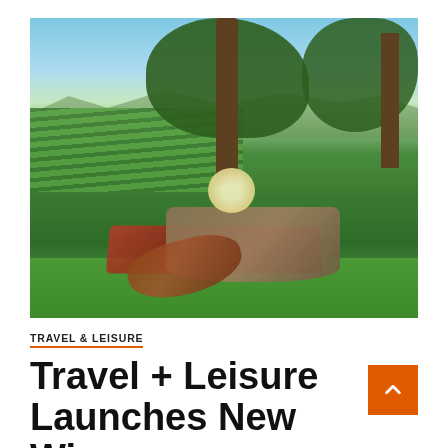[Figure (photo): Outdoor vineyard picnic scene under large oak trees. A low table on a barrel sits on a colorful blanket with wine bottles, glasses, flowers, and a guitar on green grass. Rolling vineyard rows and mountains visible in background under blue sky.]
TRAVEL & LEISURE
Travel + Leisure Launches New Wine